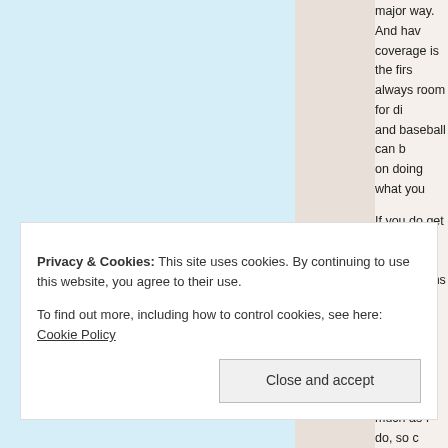major way. And hav coverage is the firs always room for di and baseball can b on doing what you
If you do get out to your observations general notes from my style these day this site is getting much as I do, so c
[Figure (illustration): Small pixel art / icon image showing a colorful creature figure on white background]
Privacy & Cookies: This site uses cookies. By continuing to use this website, you agree to their use.
To find out more, including how to control cookies, see here: Cookie Policy
Close and accept